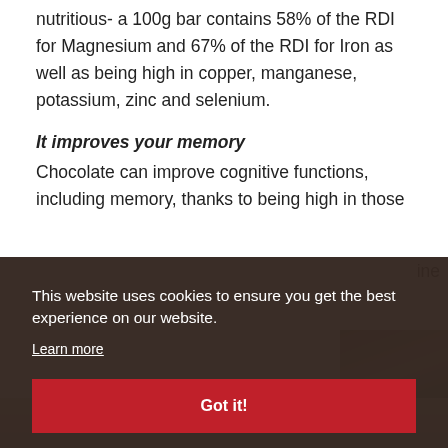nutritious- a 100g bar contains 58% of the RDI for Magnesium and 67% of the RDI for Iron as well as being high in copper, manganese, potassium, zinc and selenium.
It improves your memory
Chocolate can improve cognitive functions, including memory, thanks to being high in those
ine
[Figure (photo): Partial photo visible at right side, obscured by cookie consent banner overlay]
This website uses cookies to ensure you get the best experience on our website.
Learn more
Got it!
[Figure (photo): Bottom strip showing a person, partially visible below cookie banner]